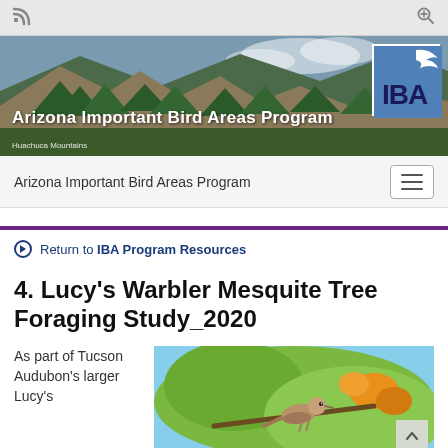[Figure (screenshot): Browser chrome bar with RSS icon on left and zoom icon on right, gray background]
[Figure (photo): Banner photo of mountainous Arizona landscape with pine trees and rocky cliffs. Title 'Arizona Important Bird Areas Program' overlaid in white bold text. IBA logo (blue background with bird silhouette and IBA letters) in top right. Caption 'Huachuca Mountains' at bottom left.]
Arizona Important Bird Areas Program
Return to IBA Program Resources
4. Lucy's Warbler Mesquite Tree Foraging Study_2020
As part of Tucson Audubon's larger Lucy's
[Figure (photo): Photograph of a small brown bird (Lucy's Warbler) perched on a branch with green and orange foliage against a blue sky background.]